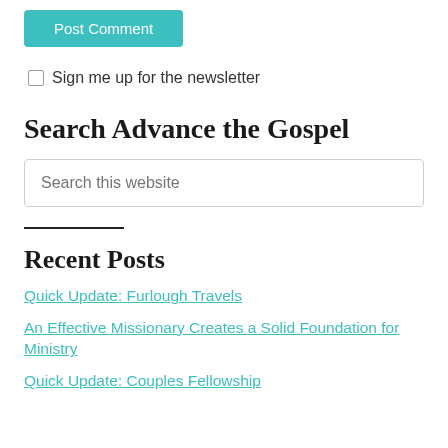Post Comment
Sign me up for the newsletter
Search Advance the Gospel
Search this website
Recent Posts
Quick Update: Furlough Travels
An Effective Missionary Creates a Solid Foundation for Ministry
Quick Update: Couples Fellowship